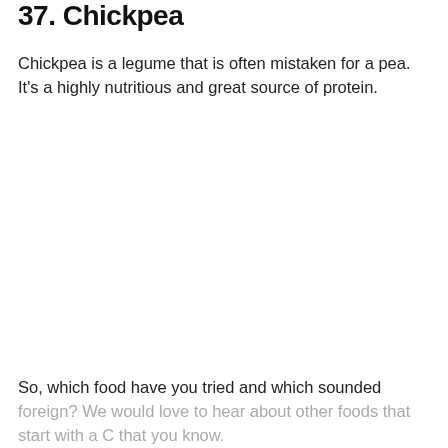37. Chickpea
Chickpea is a legume that is often mistaken for a pea. It's a highly nutritious and great source of protein.
So, which food have you tried and which sounded foreign? We would love to hear about other foods that start with a C that you know.